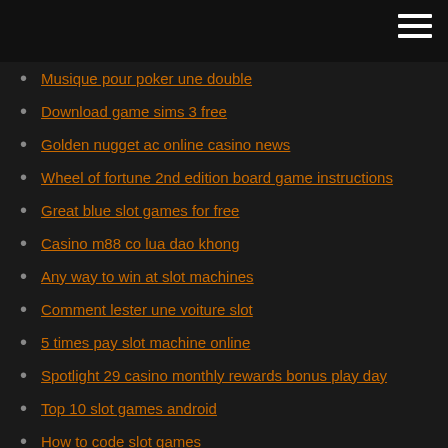Musique pour poker une double
Download game sims 3 free
Golden nugget ac online casino news
Wheel of fortune 2nd edition board game instructions
Great blue slot games for free
Casino m88 co lua dao khong
Any way to win at slot machines
Comment lester une voiture slot
5 times pay slot machine online
Spotlight 29 casino monthly rewards bonus play day
Top 10 slot games android
How to code slot games
Lake murray poker run pictures
Mr green casino bonus withdraw